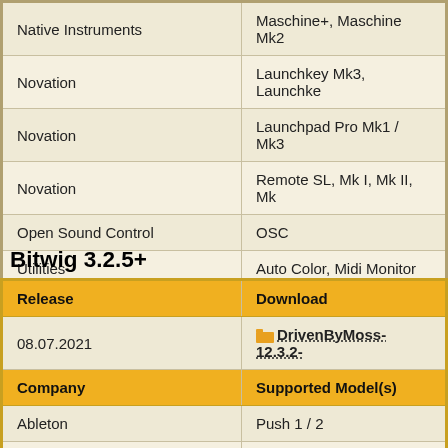| Company | Supported Model(s) |
| --- | --- |
| Native Instruments | Maschine+, Maschine Mk2 |
| Novation | Launchkey Mk3, Launchke |
| Novation | Launchpad Pro Mk1 / Mk3 |
| Novation | Remote SL, Mk I, Mk II, Mk |
| Open Sound Control | OSC |
| Utilities | Auto Color, Midi Monitor |
Bitwig 3.2.5+
| Release | Download |
| --- | --- |
| 08.07.2021 | DrivenByMoss-12.3.2- |
| Company | Supported Model(s) |
| Ableton | Push 1 / 2 |
| Akai | APC40 / APC40mkII |
| Akai | APCmini |
| Akai | Fire |